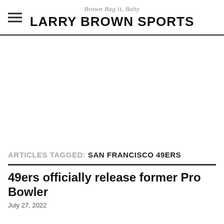Brown Bag it, Baby
LARRY BROWN SPORTS
ARTICLES TAGGED: SAN FRANCISCO 49ERS
49ers officially release former Pro Bowler